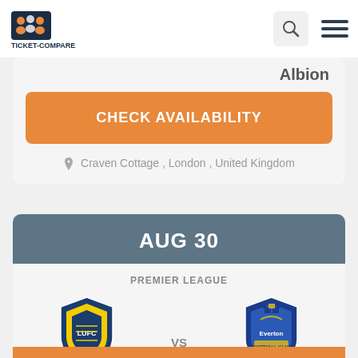Ticket-Compare navigation bar with logo, search icon, and hamburger menu
Albion
CHECK AVAILABILITY
Craven Cottage , London , United Kingdom
AUG 30
PREMIER LEAGUE
[Figure (logo): Leeds United FC crest - shield shape with yellow and blue, LUFC text]
Leeds United
VS
[Figure (logo): Everton FC crest - blue shield with tower design and Everton text]
Everton FC